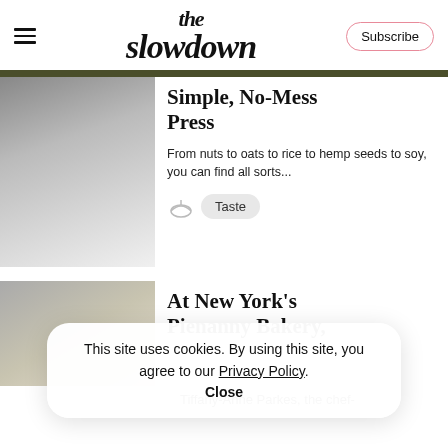the slowdown
Simple, No-Mess Press
From nuts to oats to rice to hemp seeds to soy, you can find all sorts...
Taste
At New York's Pienanny Bakery,
This site uses cookies. By using this site, you agree to our Privacy Policy. Close
Tiffany-Anne Parkes, the chef-